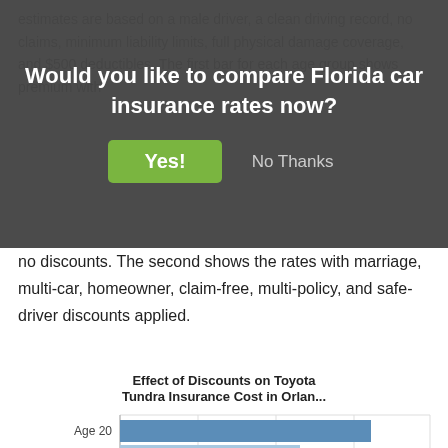estimates are based on a male driver, a clean driving record, no claims, minimum liability limits, full physical damage coverage, and $500 deductibles. The first bar for each age group shows premium with no discounts. The second shows the rates with marriage, multi-car, homeowner, claim-free, multi-policy, and safe-driver discounts applied.
Would you like to compare Florida car insurance rates now?
no discounts. The second shows the rates with marriage, multi-car, homeowner, claim-free, multi-policy, and safe-driver discounts applied.
[Figure (grouped-bar-chart): Effect of Discounts on Toyota Tundra Insurance Cost in Orlan...]